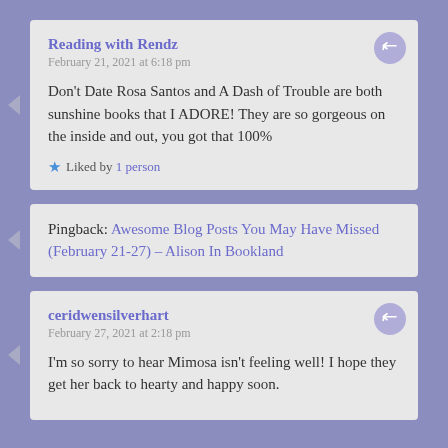Reading with Rendz
February 21, 2021 at 6:18 pm
Don't Date Rosa Santos and A Dash of Trouble are both sunshine books that I ADORE! They are so gorgeous on the inside and out, you got that 100%
Liked by 1 person
Pingback: Awesome Blog Posts You May Have Missed (February 21-27) – Alison In Bookland
ceridwensilverhart
February 27, 2021 at 2:18 pm
I'm so sorry to hear Mimosa isn't feeling well! I hope they get her back to hearty and happy soon.